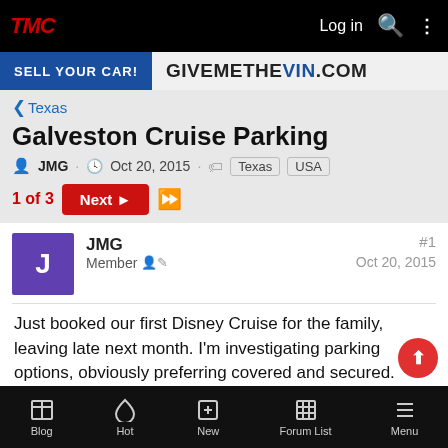TMC — Log in
[Figure (screenshot): Banner ad: SELL YOUR CAR! GIVEMETHEVIN.COM]
< Texas
Galveston Cruise Parking
JMG · Oct 20, 2015 · Texas USA
1 of 3  Next ▶  ▶▶
JMG
Member
#1
Oct 20, 2015
Just booked our first Disney Cruise for the family, leaving late next month. I'm investigating parking options, obviously preferring covered and secured. Galveston is pretty devoid any public chargers (a handful of hotels and restaurants), and
Blog  Hot  New  Forum List  Menu